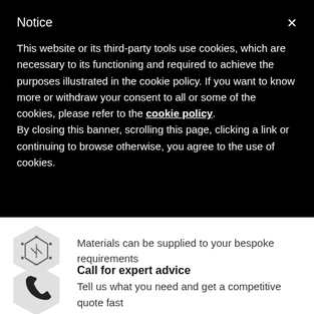Notice
This website or its third-party tools use cookies, which are necessary to its functioning and required to achieve the purposes illustrated in the cookie policy. If you want to know more or withdraw your consent to all or some of the cookies, please refer to the cookie policy. By closing this banner, scrolling this page, clicking a link or continuing to browse otherwise, you agree to the use of cookies.
[Figure (illustration): Hexagonal icon with a custom fabrication / cutting tool graphic]
Materials can be supplied to your bespoke requirements
[Figure (illustration): Hexagonal icon with a telephone/phone handset graphic]
Call for expert advice
Tell us what you need and get a competitive quote fast